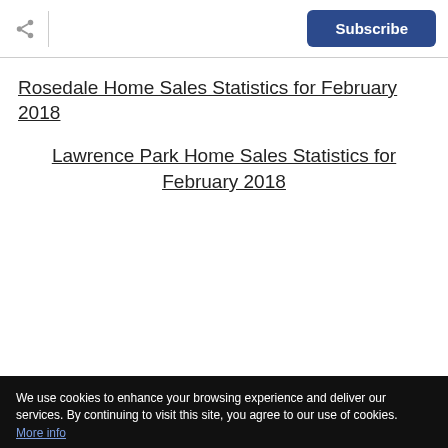Subscribe
Rosedale Home Sales Statistics for February 2018
Lawrence Park Home Sales Statistics for February 2018
We use cookies to enhance your browsing experience and deliver our services. By continuing to visit this site, you agree to our use of cookies. More info
Send an Inquiry